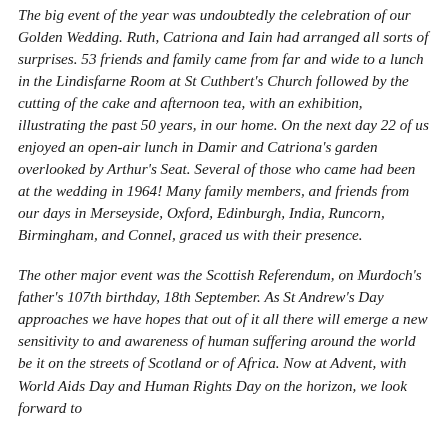The big event of the year was undoubtedly the celebration of our Golden Wedding. Ruth, Catriona and Iain had arranged all sorts of surprises. 53 friends and family came from far and wide to a lunch in the Lindisfarne Room at St Cuthbert's Church followed by the cutting of the cake and afternoon tea, with an exhibition, illustrating the past 50 years, in our home. On the next day 22 of us enjoyed an open-air lunch in Damir and Catriona's garden overlooked by Arthur's Seat. Several of those who came had been at the wedding in 1964! Many family members, and friends from our days in Merseyside, Oxford, Edinburgh, India, Runcorn, Birmingham, and Connel, graced us with their presence.
The other major event was the Scottish Referendum, on Murdoch's father's 107th birthday, 18th September. As St Andrew's Day approaches we have hopes that out of it all there will emerge a new sensitivity to and awareness of human suffering around the world be it on the streets of Scotland or of Africa. Now at Advent, with World Aids Day and Human Rights Day on the horizon, we look forward to